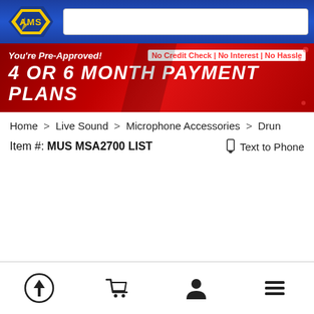[Figure (logo): AMS logo - yellow and blue diamond shape with 'AMS' text in blue]
[Figure (screenshot): Red promotional banner: You're Pre-Approved! No Credit Check | No Interest | No Hassle / 4 OR 6 MONTH PAYMENT PLANS]
Home > Live Sound > Microphone Accessories > Drum
Item #: MUS MSA2700 LIST   Text to Phone
[Figure (infographic): Bottom navigation bar with upload icon, shopping cart icon, user icon, and hamburger menu icon]